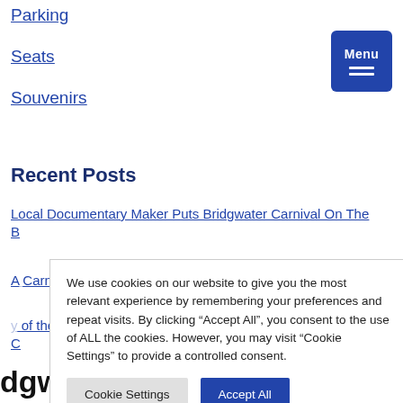Parking
Seats
Souvenirs
Recent Posts
Local Documentary Maker Puts Bridgwater Carnival On The B...
A... Carnivals Opens
...of the Jubilee C...
We use cookies on our website to give you the most relevant experience by remembering your preferences and repeat visits. By clicking “Accept All”, you consent to the use of ALL the cookies. However, you may visit “Cookie Settings” to provide a controlled consent.
Cookie Settings   Accept All
dgwater Carnival returns for 2022